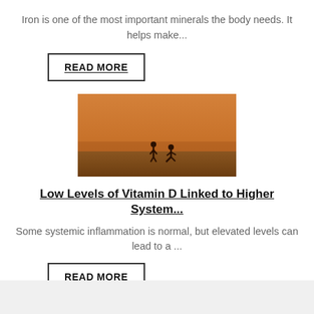Iron is one of the most important minerals the body needs. It helps make...
READ MORE
[Figure (photo): Two people on a beach at sunset with orange/golden sky, one person appears to be helping another who is crouching down]
Low Levels of Vitamin D Linked to Higher System...
Some systemic inflammation is normal, but elevated levels can lead to a ...
READ MORE